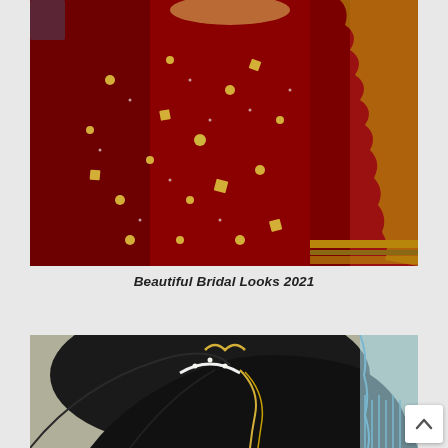[Figure (photo): Close-up photograph of a woman wearing a red bridal lehenga with gold embroidery, sequins, and a heavily embellished crimson dupatta with gold border detailing]
Beautiful Bridal Looks 2021
[Figure (photo): Close-up photograph showing the back of a bride's head with black hair in an elaborate updo decorated with pearl and gold jewelry, and a light blue tassel accessory]